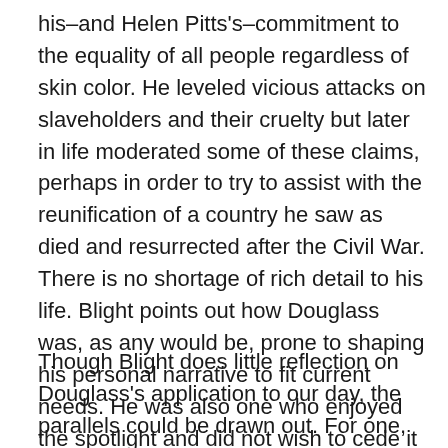his–and Helen Pitts's–commitment to the equality of all people regardless of skin color. He leveled vicious attacks on slaveholders and their cruelty but later in life moderated some of these claims, perhaps in order to try to assist with the reunification of a country he saw as died and resurrected after the Civil War. There is no shortage of rich detail to his life. Blight points out how Douglass was, as any would be, prone to shaping his personal narrative to fit current needs. He was also one who enjoyed the spotlight and did not wish to cede it to other rising stars, though he did help mentor many African Americans and was generous with his often overestimated wealth.
Though Blight does little reflection on Douglass's application to our day, the parallels could be drawn out. For one, racism continues to exist to this day. Organizations that are white nationalist, KKK, and the like